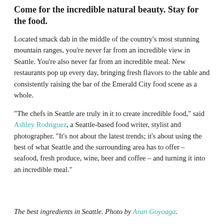Come for the incredible natural beauty. Stay for the food.
Located smack dab in the middle of the country's most stunning mountain ranges, you're never far from an incredible view in Seattle. You're also never far from an incredible meal. New restaurants pop up every day, bringing fresh flavors to the table and consistently raising the bar of the Emerald City food scene as a whole.
"The chefs in Seattle are truly in it to create incredible food," said Ashley Rodriguez, a Seattle-based food writer, stylist and photographer. "It's not about the latest trends; it's about using the best of what Seattle and the surrounding area has to offer – seafood, fresh produce, wine, beer and coffee – and turning it into an incredible meal."
The best ingredients in Seattle. Photo by Aran Goyoaga.
Global Yodel sat down with some of Seattle's top food and lifestyle photographers to talk about the city's food scene and where to go when you're craving smoked trout roe and